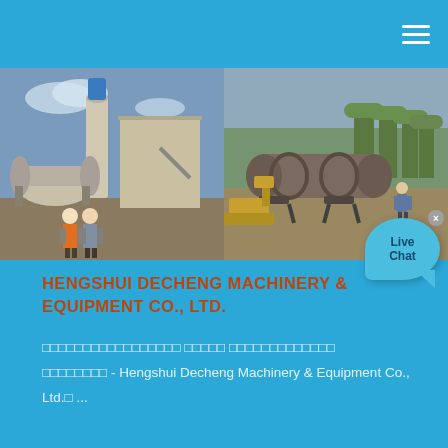[Figure (photo): Two photos side by side: left photo shows industrial ball mill equipment with two workers in orange safety vests standing in front; right photo shows a large rotary kiln or drum equipment at an outdoor construction/mining site.]
HENGSHUI DECHENG MACHINERY & EQUIPMENT CO., LTD.
□□□□□□□□□□□□□□□□□ □□□□□ □□□□□□□□□□□□□
□□□□□□□□ - Hengshui Decheng Machinery & Equipment Co., Ltd.□ ...